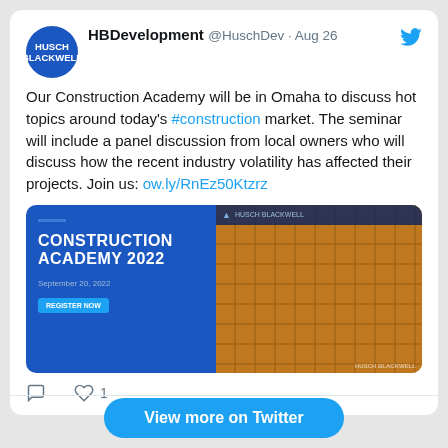HBDevelopment @HuschDev · Aug 26
Our Construction Academy will be in Omaha to discuss hot topics around today's #construction market. The seminar will include a panel discussion from local owners who will discuss how the recent industry volatility has affected their projects. Join us: ow.ly/RnEz50Ktzrz
[Figure (screenshot): Construction Academy 2022 promotional image with blue background on left showing title text and a register button, and brick/steel framework photo on the right]
1 like
View more on Twitter